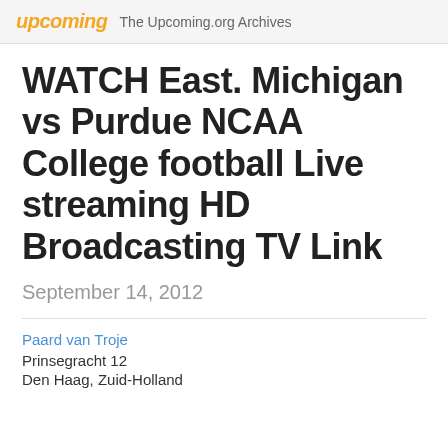upcoming  The Upcoming.org Archives
WATCH East. Michigan vs Purdue NCAA College football Live streaming HD Broadcasting TV Link
September 14, 2012
Paard van Troje
Prinsegracht 12
Den Haag, Zuid-Holland